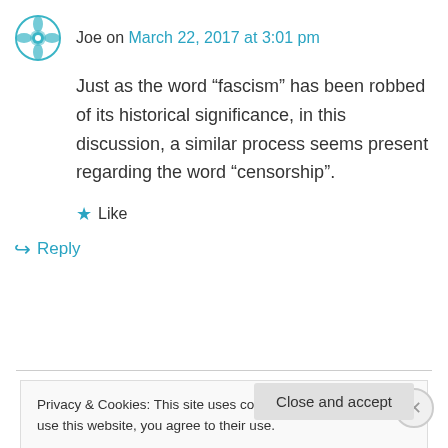Joe on March 22, 2017 at 3:01 pm
Just as the word “fascism” has been robbed of its historical significance, in this discussion, a similar process seems present regarding the word “censorship”.
★ Like
↵ Reply
Privacy & Cookies: This site uses cookies. By continuing to use this website, you agree to their use.
To find out more, including how to control cookies, see here: Cookie Policy
Close and accept